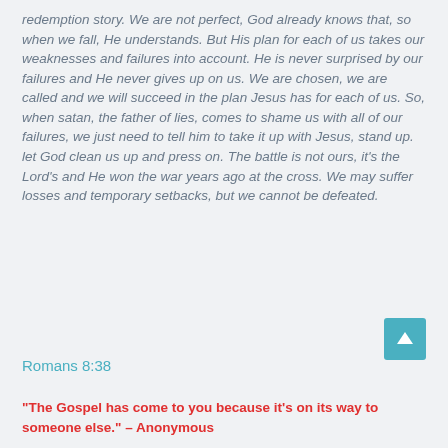redemption story.  We are not perfect, God already knows that, so when we fall, He understands.  But His plan for each of us takes our weaknesses and failures into account.  He is never surprised by our failures and He never gives up on us.  We are chosen, we are called and we will succeed in the plan Jesus has for each of us.  So, when satan, the father of lies, comes to shame us with all of our failures, we just need to tell him to take it up with Jesus, stand up. let God clean us up and press on.  The battle is not ours, it's the Lord's and He won the war years ago at the cross.  We may suffer losses and temporary setbacks, but we cannot be defeated.
Romans 8:38
“The Gospel has come to you because it’s on its way to someone else.” – Anonymous